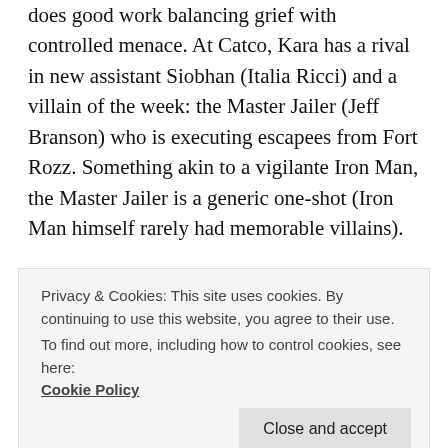does good work balancing grief with controlled menace. At Catco, Kara has a rival in new assistant Siobhan (Italia Ricci) and a villain of the week: the Master Jailer (Jeff Branson) who is executing escapees from Fort Rozz. Something akin to a vigilante Iron Man, the Master Jailer is a generic one-shot (Iron Man himself rarely had memorable villains).
Even short of a superior antagonist, “Truth, Justice, And The American Way” does a good job balancing the various plot points this time. Not too much time is spent on Kara’s growing resentment of Henshaw
Privacy & Cookies: This site uses cookies. By continuing to use this website, you agree to their use.
To find out more, including how to control cookies, see here:
Cookie Policy
It is Olsen who motivates Kara and the DEO